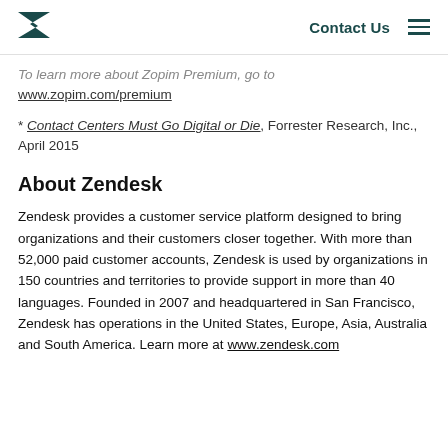Contact Us
To learn more about Zopim Premium, go to www.zopim.com/premium
* Contact Centers Must Go Digital or Die, Forrester Research, Inc., April 2015
About Zendesk
Zendesk provides a customer service platform designed to bring organizations and their customers closer together. With more than 52,000 paid customer accounts, Zendesk is used by organizations in 150 countries and territories to provide support in more than 40 languages. Founded in 2007 and headquartered in San Francisco, Zendesk has operations in the United States, Europe, Asia, Australia and South America. Learn more at www.zendesk.com